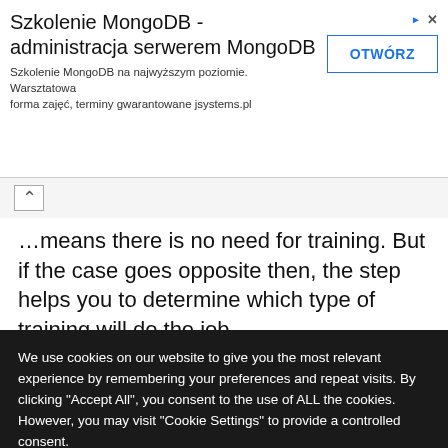[Figure (screenshot): Advertisement banner for MongoDB training: 'Szkolenie MongoDB - administracja serwerem MongoDB' with OTWÓRZ button and ad marker icons]
…means there is no need for training. But if the case goes opposite then, the step helps you to determine which type of training will do the job.
All this is based on training maturity and its different phases i.e. reacting phase, performing phase, scaling
We use cookies on our website to give you the most relevant experience by remembering your preferences and repeat visits. By clicking "Accept All", you consent to the use of ALL the cookies. However, you may visit "Cookie Settings" to provide a controlled consent.